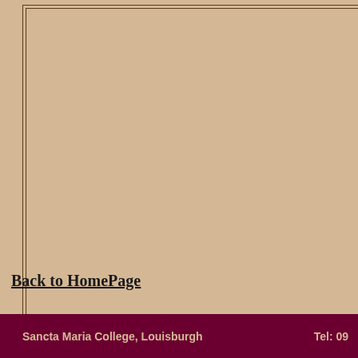Back to HomePage
Sancta Maria College, Louisburgh    Tel: 09